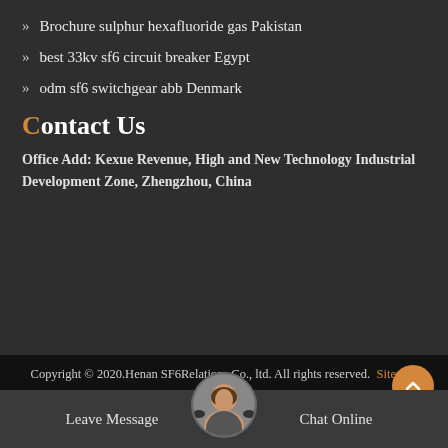Brochure sulphur hexafluoride gas Pakistan
best 33kv sf6 circuit breaker Egypt
odm sf6 switchgear abb Denmark
Contact Us
Office Add: Kexue Revenue, High and New Technology Industrial Development Zone, Zhengzhou, China
Copyright © 2020.Henan SF6Relations Co., ltd. All rights reserved. Sitemap
Leave Message
Chat Online